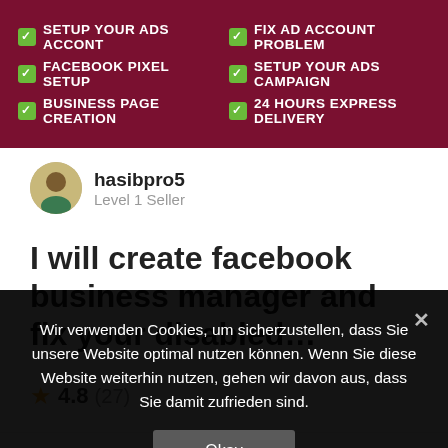[Figure (screenshot): Dark red promotional banner listing services: SETUP YOUR ADS ACCONT, FIX AD ACCOUNT PROBLEM, FACEBOOK PIXEL SETUP, SETUP YOUR ADS CAMPAIGN, BUSINESS PAGE CREATION, 24 HOURS EXPRESS DELIVERY]
hasibpro5
Level 1 Seller
I will create facebook business manager and fix your disabled…
★ 4.8 (27)
STARTING AT  €25.90
Wir verwenden Cookies, um sicherzustellen, dass Sie unsere Website optimal nutzen können. Wenn Sie diese Website weiterhin nutzen, gehen wir davon aus, dass Sie damit zufrieden sind.
Okay